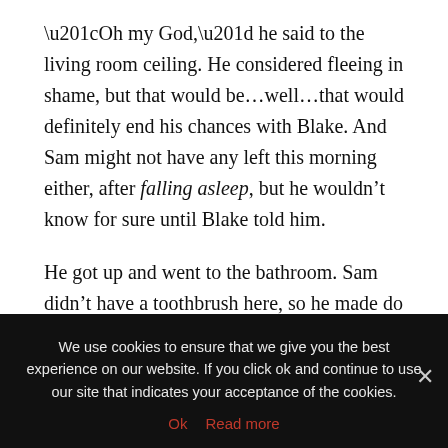“Oh my God,” he said to the living room ceiling. He considered fleeing in shame, but that would be…well…that would definitely end his chances with Blake. And Sam might not have any left this morning either, after falling asleep, but he wouldn’t know for sure until Blake told him.
He got up and went to the bathroom. Sam didn’t have a toothbrush here, so he made do with mouthwash. He stared at himself in the mirror and grimaced at his stubble and dark circles under his eyes. He tried to contain his hair a little bit, but it still looked like a bed head when he was done.
We use cookies to ensure that we give you the best experience on our website. If you click ok and continue to use our site that indicates your acceptance of the cookies.